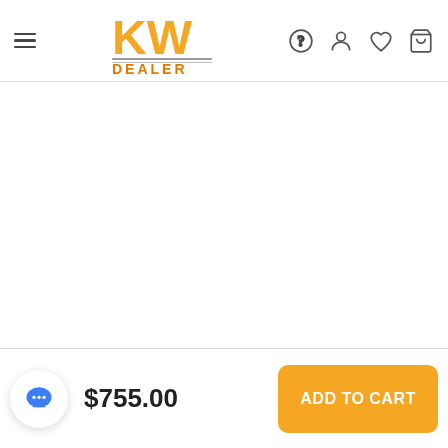[Figure (logo): KW Dealer logo — bold yellow 'KW' letters above 'DEALER' text in orange, with decorative horizontal lines]
$755.00
ADD TO CART